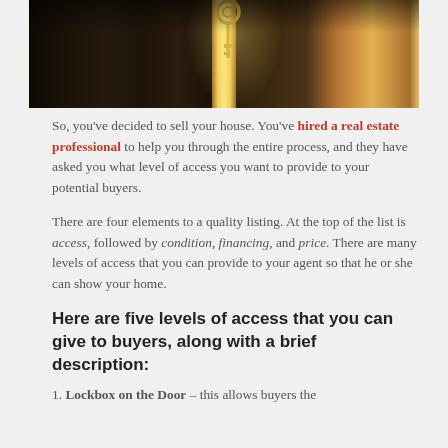[Figure (photo): A wooden door with keys hanging in the lock, backlit with warm light suggesting sunlight through the door opening.]
So, you've decided to sell your house. You've hired a real estate professional to help you through the entire process, and they have asked you what level of access you want to provide to your potential buyers.
There are four elements to a quality listing. At the top of the list is access, followed by condition, financing, and price. There are many levels of access that you can provide to your agent so that he or she can show your home.
Here are five levels of access that you can give to buyers, along with a brief description:
1. Lockbox on the Door – this allows buyers the